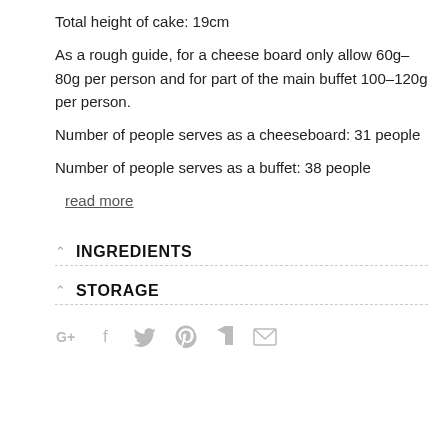Total height of cake: 19cm
As a rough guide, for a cheese board only allow 60g–80g per person and for part of the main buffet 100–120g per person.
Number of people serves as a cheeseboard: 31 people
Number of people serves as a buffet: 38 people
read more
INGREDIENTS
STORAGE
[Figure (infographic): Social media sharing icons: Google+, Facebook, Twitter, Pinterest, Bloglovin, Email]